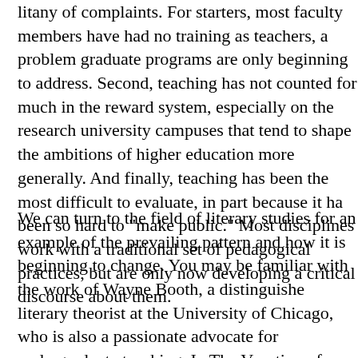litany of complaints. For starters, most faculty members have had no training as teachers, a problem graduate programs are only beginning to address. Second, teaching has not counted for much in the reward system, especially on the research university campuses that tend to shape the ambitions of higher education more generally. And finally, teaching has been the most difficult to evaluate, in part because it has been so hard to "make public." Most disciplines work with a traditional set of pedagogical practices, but are only now developing a critical discourse about them.
We can turn to the field of literary studies for an example of the prevailing pattern and how it is beginning to change. You may be familiar with the work of Wayne Booth, a distinguished literary theorist at the University of Chicago, who is also a passionate advocate for undergraduate teaching. In The Vocation of a...